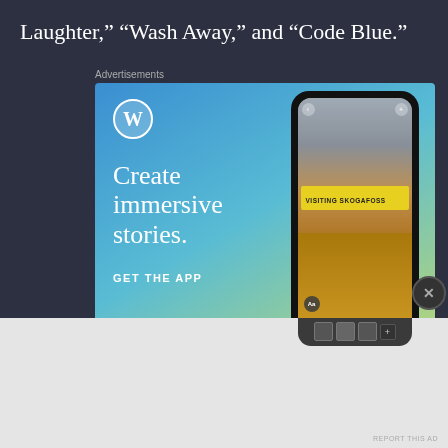Laughter,” “Wash Away,” and “Code Blue.”
[Figure (screenshot): WordPress advertisement banner showing 'Create immersive stories. GET THE APP' with WordPress logo on the left and a phone mockup on the right showing a waterfall photo with text 'VISITING SKOGAFOSS'. Blue to yellow-green gradient background.]